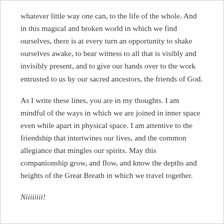whatever little way one can, to the life of the whole. And in this magical and broken world in which we find ourselves, there is at every turn an opportunity to shake ourselves awake, to bear witness to all that is visibly and invisibly present, and to give our hands over to the work entrusted to us by our sacred ancestors, the friends of God.
As I write these lines, you are in my thoughts. I am mindful of the ways in which we are joined in inner space even while apart in physical space. I am attentive to the friendship that intertwines our lives, and the common allegiance that mingles our spirits. May this companionship grow, and flow, and know the depths and heights of the Great Breath in which we travel together.
Niiiiiiii!